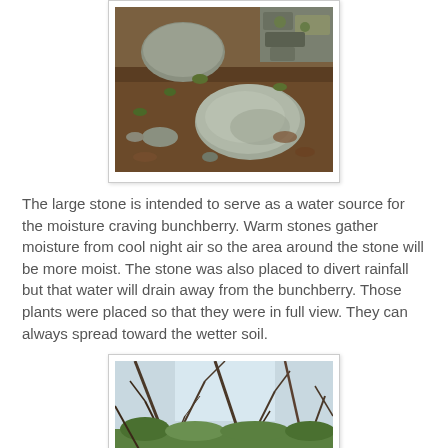[Figure (photo): Outdoor garden scene with large grey stones, brown soil/mulch, small green plants, and a stone wall in the background.]
The large stone is intended to serve as a water source for the moisture craving bunchberry.  Warm stones gather moisture from cool night air so the area around the stone will be more moist.  The stone was also placed to divert rainfall but that water will drain away from the bunchberry.  Those plants were placed so that they were in full view.  They can always spread toward the wetter soil.
[Figure (photo): Outdoor woodland scene with bare tree branches against a bright sky, with green foliage visible at the bottom.]